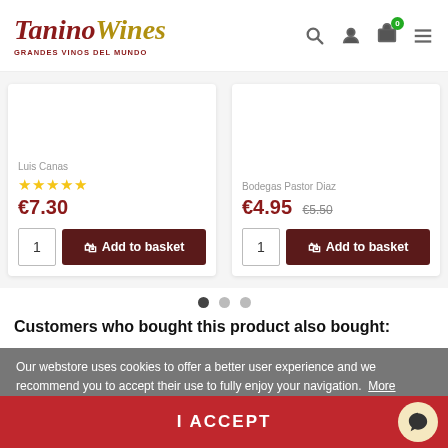[Figure (logo): TaninoWines logo with tagline 'Grandes Vinos Del Mundo' and navigation icons (search, user, cart with 0 badge, menu)]
[Figure (screenshot): Product card left: seller name truncated 'Luis Canas', 5 gold stars rating, price €7.30, quantity input '1', dark red 'Add to basket' button]
[Figure (screenshot): Product card right: seller 'Bodegas Pastor Diaz' truncated, price €4.95 with strikethrough €5.50, quantity input '1', dark red 'Add to basket' button]
[Figure (other): Carousel dot indicators: 3 dots, first one active/dark, two lighter]
Customers who bought this product also bought:
Our webstore uses cookies to offer a better user experience and we recommend you to accept their use to fully enjoy your navigation.  More information  customize cookies
I ACCEPT